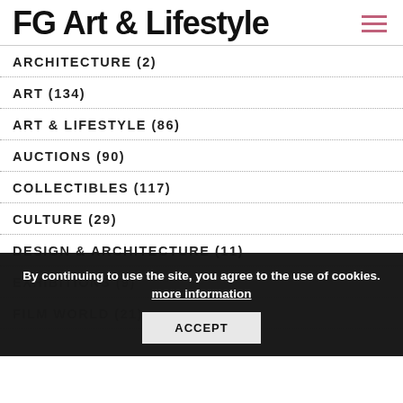FG Art & Lifestyle
ARCHITECTURE (2)
ART (134)
ART & LIFESTYLE (86)
AUCTIONS (90)
COLLECTIBLES (117)
CULTURE (29)
DESIGN & ARCHITECTURE (11)
EXHIBITIONS (9)
FILM WORLD (21)
By continuing to use the site, you agree to the use of cookies. more information
ACCEPT